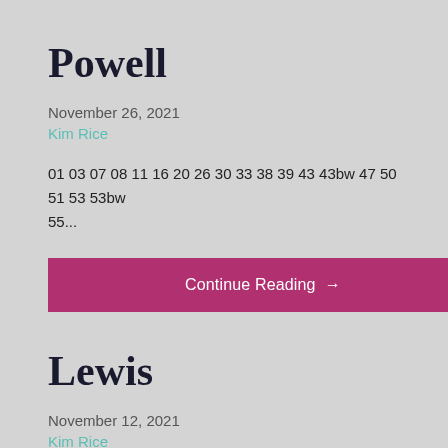Powell
November 26, 2021
Kim Rice
01 03 07 08 11 16 20 26 30 33 38 39 43 43bw 47 50 51 53 53bw 55...
Continue Reading →
Lewis
November 12, 2021
Kim Rice